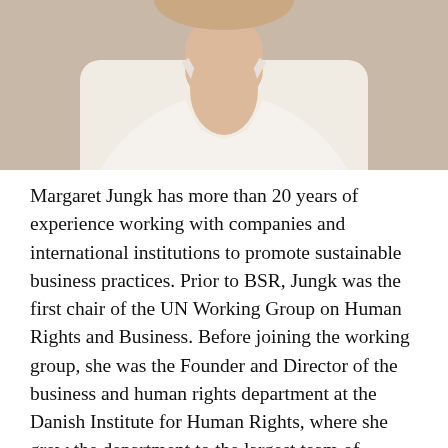[Figure (photo): Photo of Margaret Jungk, a woman wearing a white/cream top, cropped at the shoulders, against a light background.]
Margaret Jungk has more than 20 years of experience working with companies and international institutions to promote sustainable business practices. Prior to BSR, Jungk was the first chair of the UN Working Group on Human Rights and Business. Before joining the working group, she was the Founder and Director of the business and human rights department at the Danish Institute for Human Rights, where she grew the department to the largest team of business-focused human rights experts at a national human rights institution. In her capacity at the Danish Institute, Jungk led projects to help global companies integrate human rights into their